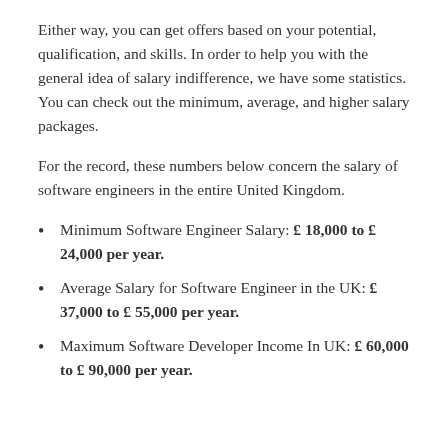Either way, you can get offers based on your potential, qualification, and skills. In order to help you with the general idea of salary indifference, we have some statistics. You can check out the minimum, average, and higher salary packages.
For the record, these numbers below concern the salary of software engineers in the entire United Kingdom.
Minimum Software Engineer Salary: £ 18,000 to £ 24,000 per year.
Average Salary for Software Engineer in the UK: £ 37,000 to £ 55,000 per year.
Maximum Software Developer Income In UK: £ 60,000 to £ 90,000 per year.